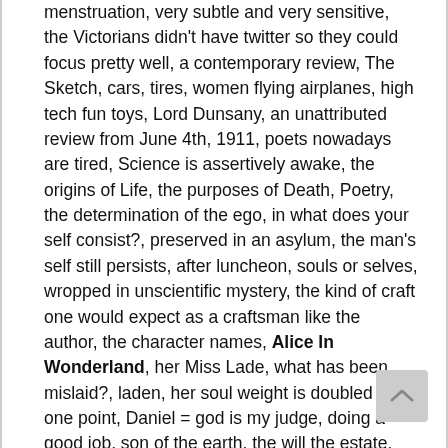menstruation, very subtle and very sensitive, the Victorians didn't have twitter so they could focus pretty well, a contemporary review, The Sketch, cars, tires, women flying airplanes, high tech fun toys, Lord Dunsany, an unattributed review from June 4th, 1911, poets nowadays are tired, Science is assertively awake, the origins of Life, the purposes of Death, Poetry, the determination of the ego, in what does your self consist?, preserved in an asylum, the man's self still persists, after luncheon, souls or selves, wropped in unscientific mystery, the kind of craft one would expect as a craftsman like the author, the character names, Alice In Wonderland, her Miss Lade, what has been mislaid?, laden, her soul weight is doubled at one point, Daniel = god is my judge, doing a good job, son of the earth, the will the estate, bundling the mom off to New York, background, Daniel's interest in food, a point or a thesis, what humankind's souls are, a Frankenstein story, scorned by his peers, a happy soldier, an Igor